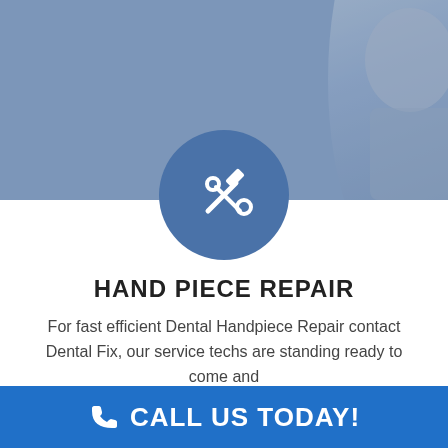[Figure (photo): Hero background image showing a person (technician/professional) with a blue-grey color overlay]
[Figure (illustration): Blue circle icon with crossed hammer and wrench tools in white]
HAND PIECE REPAIR
For fast efficient Dental Handpiece Repair contact Dental Fix, our service techs are standing ready to come and
CALL US TODAY!